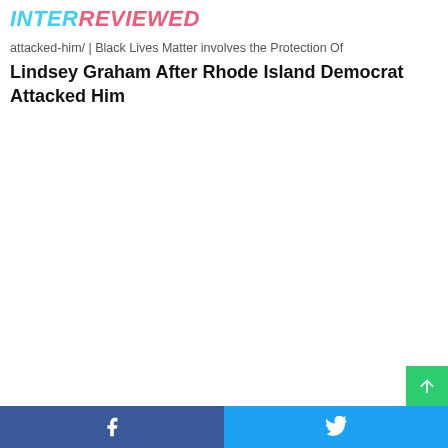INTERREVIEWED
attacked-him/ | Black Lives Matter involves the Protection Of Lindsey Graham After Rhode Island Democrat Attacked Him